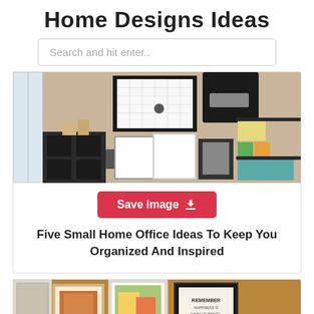Home Designs Ideas
Search and hit enter..
[Figure (photo): Home office wall with organized shelving, calendar board, framed photos, desk organizers, and colorful storage containers]
Save Image
Five Small Home Office Ideas To Keep You Organized And Inspired
[Figure (photo): Room with warm tan walls, framed art pictures, wicker baskets, and decorative items on a shelf]